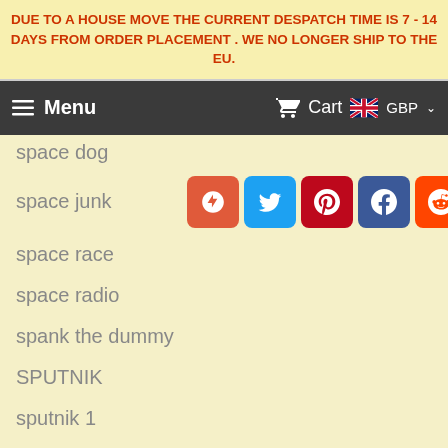DUE TO A HOUSE MOVE THE CURRENT DESPATCH TIME IS 7 - 14 DAYS FROM ORDER PLACEMENT . WE NO LONGER SHIP TO THE EU.
Menu  Cart  GBP
space dog
space junk
space race
space radio
spank the dummy
SPUTNIK
sputnik 1
sputnik special
sputnikburger
SR MULLARD
ss eriks
ST NAZAIRE